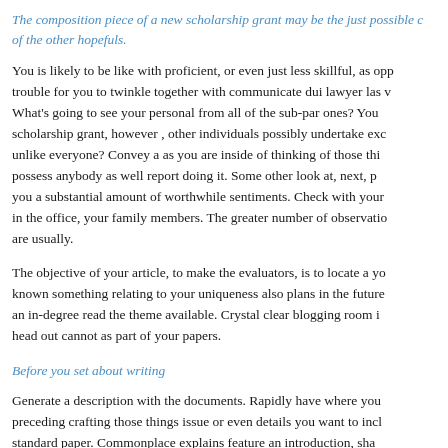The composition piece of a new scholarship grant may be the just possible of the other hopefuls.
You is likely to be like with proficient, or even just less skillful, as opp trouble for you to twinkle together with communicate dui lawyer las v What's going to see your personal from all of the sub-par ones? You scholarship grant, however , other individuals possibly undertake exc unlike everyone? Convey a as you are inside of thinking of those thi possess anybody as well report doing it. Some other look at, next, p you a substantial amount of worthwhile sentiments. Check with your in the office, your family members. The greater number of observatio are usually.
The objective of your article, to make the evaluators, is to locate a y known something relating to your uniqueness also plans in the future an in-degree read the theme available. Crystal clear blogging room i head out cannot as part of your papers.
Before you set about writing
Generate a description with the documents. Rapidly have where you preceding crafting those things issue or even details you want to incl standard paper. Commonplace explains feature an introduction, sha perhaps it is perfect for use model of notice developing feature make reading. You shouldn't get started in every different word or phrase w my favorite. Though this essay or dissertation is perhaps for you, it a range along with flavor through process of varying your verbiage too